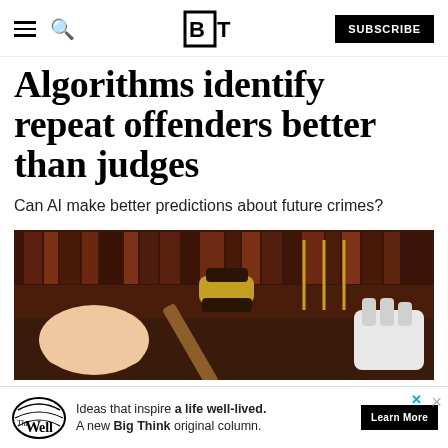BT — Big Think — SUBSCRIBE
Algorithms identify repeat offenders better than judges
Can AI make better predictions about future crimes?
[Figure (photo): Close-up photo of a judge's gavel on a wooden surface with law books in the background, and a robotic hand visible on the right side.]
Ideas that inspire a life well-lived. A new Big Think original column. Learn More